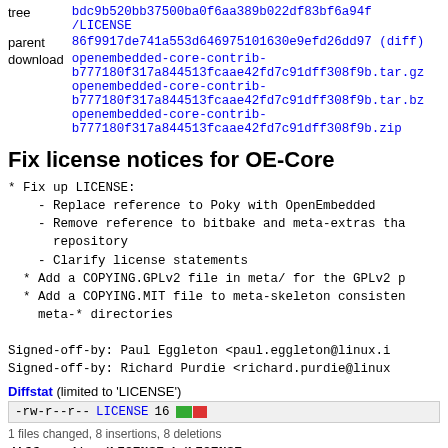| tree | bdc9b520bb37500ba0f6aa389b022df83bf6a94f /LICENSE |
| parent | 86f9917de741a553d646975101630e9efd26dd97 (diff) |
| download | openembedded-core-contrib-b777180f317a844513fcaae42fd7c91dff308f9b.tar.gz openembedded-core-contrib-b777180f317a844513fcaae42fd7c91dff308f9b.tar.bz2 openembedded-core-contrib-b777180f317a844513fcaae42fd7c91dff308f9b.zip |
Fix license notices for OE-Core
* Fix up LICENSE:
    - Replace reference to Poky with OpenEmbedded
    - Remove reference to bitbake and meta-extras tha
      repository
    - Clarify license statements
  * Add a COPYING.GPLv2 file in meta/ for the GPLv2 p
  * Add a COPYING.MIT file to meta-skeleton consisten
    meta-* directories

Signed-off-by: Paul Eggleton <paul.eggleton@linux.i
Signed-off-by: Richard Purdie <richard.purdie@linux
Diffstat (limited to 'LICENSE')
| -rw-r--r-- | LICENSE | 16 | [graph bar] |
1 files changed, 8 insertions, 8 deletions
diff --git a/LICENSE b/LICENSE